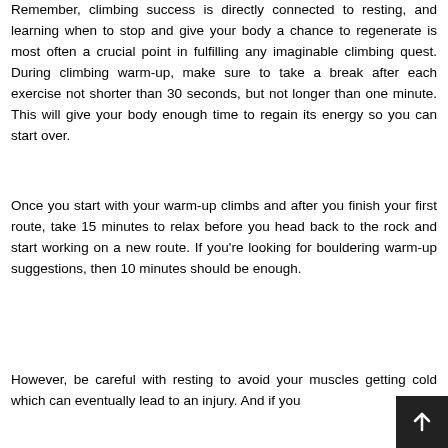Remember, climbing success is directly connected to resting, and learning when to stop and give your body a chance to regenerate is most often a crucial point in fulfilling any imaginable climbing quest. During climbing warm-up, make sure to take a break after each exercise not shorter than 30 seconds, but not longer than one minute. This will give your body enough time to regain its energy so you can start over.
Once you start with your warm-up climbs and after you finish your first route, take 15 minutes to relax before you head back to the rock and start working on a new route. If you're looking for bouldering warm-up suggestions, then 10 minutes should be enough.
However, be careful with resting to avoid your muscles getting cold which can eventually lead to an injury. And if you...